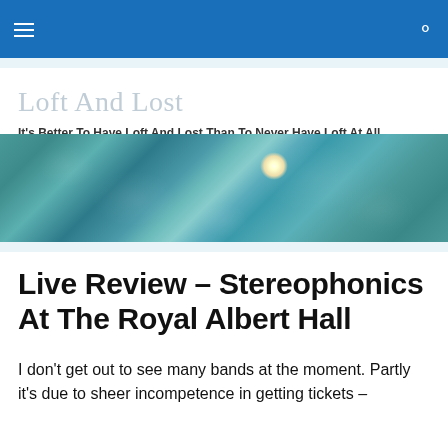Navigation bar with hamburger menu and search icon
Loft And Lost
It's Better To Have Loft And Lost Than To Never Have Loft At All
[Figure (photo): Aerial/underwater view of shimmering water with light caustics and a bright sunlight reflection near the center-right]
Live Review – Stereophonics At The Royal Albert Hall
I don't get out to see many bands at the moment. Partly it's due to sheer incompetence in getting tickets –